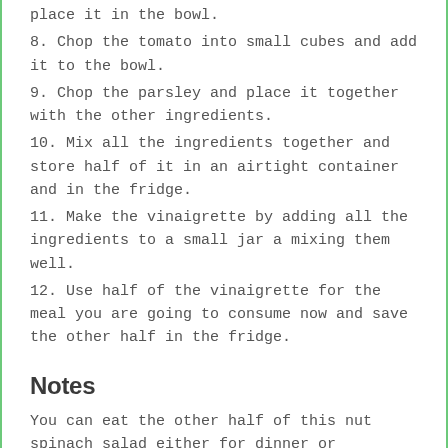place it in the bowl.
8. Chop the tomato into small cubes and add it to the bowl.
9. Chop the parsley and place it together with the other ingredients.
10. Mix all the ingredients together and store half of it in an airtight container and in the fridge.
11. Make the vinaigrette by adding all the ingredients to a small jar a mixing them well.
12. Use half of the vinaigrette for the meal you are going to consume now and save the other half in the fridge.
Notes
You can eat the other half of this nut spinach salad either for dinner or tomorrow. You just